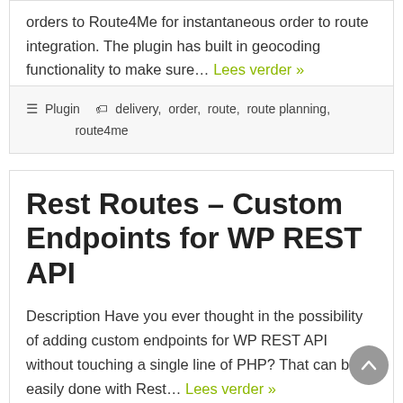orders to Route4Me for instantaneous order to route integration. The plugin has built in geocoding functionality to make sure… Lees verder »
Plugin   delivery, order, route, route planning, route4me
Rest Routes – Custom Endpoints for WP REST API
Description Have you ever thought in the possibility of adding custom endpoints for WP REST API without touching a single line of PHP? That can be easily done with Rest… Lees verder »
Plugin